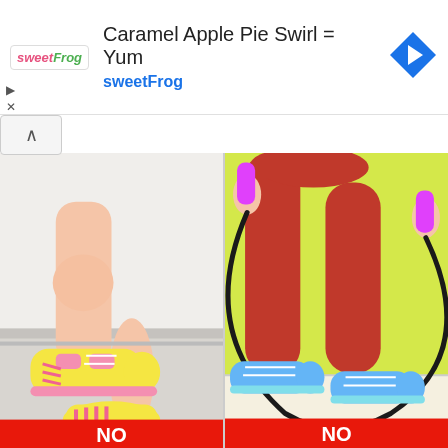[Figure (infographic): Advertisement banner for sweetFrog with text 'Caramel Apple Pie Swirl = Yum' and sweetFrog branding with logo and navigation arrow icon]
[Figure (illustration): Left panel: comic-style illustration of feet wearing yellow and pink sneakers stepping on a gray surface. Bottom label says NO in white text on red background.]
[Figure (illustration): Right panel: comic-style illustration of a person in red leggings jump-roping on yellow background, wearing blue sneakers. Bottom label says NO in white text on red background.]